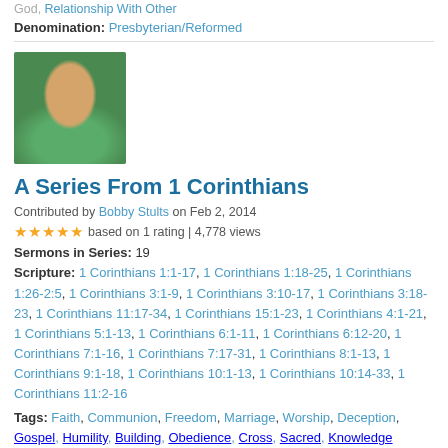God, Relationship With Other
Denomination: Presbyterian/Reformed
[Figure (photo): Portrait photo of Bobby Stults, a middle-aged man smiling, wearing a green shirt, outdoors]
A Series From 1 Corinthians
Contributed by Bobby Stults on Feb 2, 2014
★★★★★ based on 1 rating | 4,778 views
Sermons in Series: 19
Scripture: 1 Corinthians 1:1-17, 1 Corinthians 1:18-25, 1 Corinthians 1:26-2:5, 1 Corinthians 3:1-9, 1 Corinthians 3:10-17, 1 Corinthians 3:18-23, 1 Corinthians 11:17-34, 1 Corinthians 15:1-23, 1 Corinthians 4:1-21, 1 Corinthians 5:1-13, 1 Corinthians 6:1-11, 1 Corinthians 6:12-20, 1 Corinthians 7:1-16, 1 Corinthians 7:17-31, 1 Corinthians 8:1-13, 1 Corinthians 9:1-18, 1 Corinthians 10:1-13, 1 Corinthians 10:14-33, 1 Corinthians 11:2-16
Tags: Faith, Communion, Freedom, Marriage, Worship, Deception, Gospel, Humility, Building, Obedience, Cross, Sacred, Knowledge